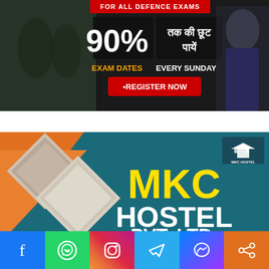[Figure (infographic): Defence exam advertisement banner. Dark background with two soldiers. Large white text '90%' and Hindi text 'तक की छूट पायें'. Orange/yellow text 'EXAM DATES EVERY SUNDAY'. Red button '• REGISTER NOW' with pointing hand cursor. Red banner at top 'FOR ALL DEFENCE EXAMS'.]
[Figure (infographic): MKC Hostel advertisement banner. Teal/dark blue background with orange diagonal strip on left. Diamond-shaped photos of hostel rooms and building exterior. Large yellow text 'MKC' and white text 'HOSTEL PVT. LTD.' on right. MKC Hostel logo in top right corner.]
[Figure (infographic): Social media share bar at bottom. Six buttons: Facebook (blue), WhatsApp (green), Instagram (purple/gradient), Telegram (blue), Messenger (blue/purple), Share (orange). Each with respective icon in white.]